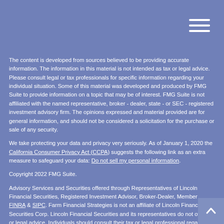Navigation menu icon
The content is developed from sources believed to be providing accurate information. The information in this material is not intended as tax or legal advice. Please consult legal or tax professionals for specific information regarding your individual situation. Some of this material was developed and produced by FMG Suite to provide information on a topic that may be of interest. FMG Suite is not affiliated with the named representative, broker - dealer, state - or SEC - registered investment advisory firm. The opinions expressed and material provided are for general information, and should not be considered a solicitation for the purchase or sale of any security.
We take protecting your data and privacy very seriously. As of January 1, 2020 the California Consumer Privacy Act (CCPA) suggests the following link as an extra measure to safeguard your data: Do not sell my personal information.
Copyright 2022 FMG Suite.
Advisory Services and Securities offered through Representatives of Lincoln Financial Securities, Registered Investment Advisor, Broker-Dealer, Member FINRA & SIPC. Farm Financial Strategies is not an affiliate of Lincoln Financial Securities Corp. Lincoln Financial Securities and its representatives do not offer tax or legal advice. Individuals should consult their tax or legal professional regarding their specific circumstances.
The registered representative(s)of Lincoln Financial Securities may offer securities to residents
of Alabama (AL), Arizona (AZ), Colorado (CO), Florida (FL), Georgia (GA), Idaho (ID)